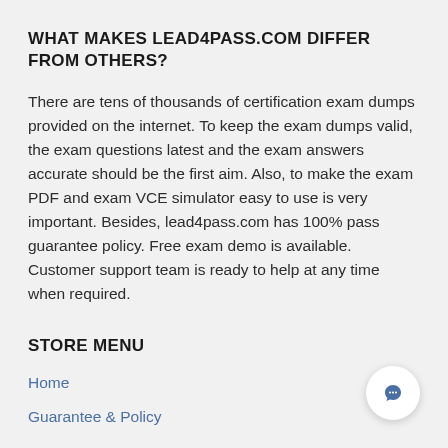WHAT MAKES LEAD4PASS.COM DIFFER FROM OTHERS?
There are tens of thousands of certification exam dumps provided on the internet. To keep the exam dumps valid, the exam questions latest and the exam answers accurate should be the first aim. Also, to make the exam PDF and exam VCE simulator easy to use is very important. Besides, lead4pass.com has 100% pass guarantee policy. Free exam demo is available. Customer support team is ready to help at any time when required.
STORE MENU
Home
Guarantee & Policy